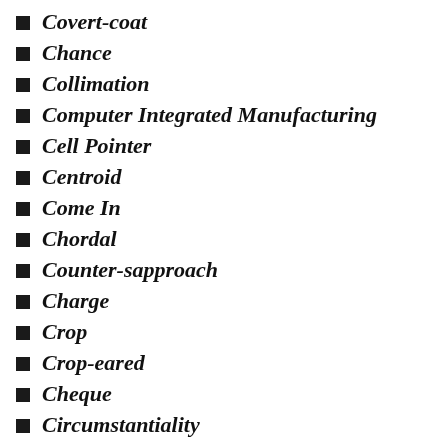Covert-coat
Chance
Collimation
Computer Integrated Manufacturing
Cell Pointer
Centroid
Come In
Chordal
Counter-sapproach
Charge
Crop
Crop-eared
Cheque
Circumstantiality
Call-bird